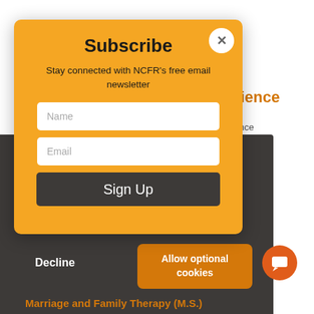Subscribe
Stay connected with NCFR's free email newsletter
Name
Email
Sign Up
Science
Science
sary
e
e
nce.
Learn more
Decline
Allow optional cookies
Marriage and Family Therapy (M.S.)